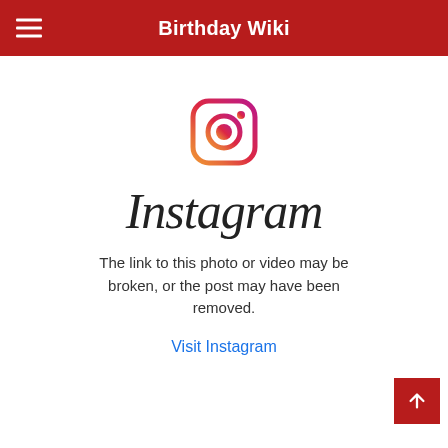Birthday Wiki
[Figure (logo): Instagram camera icon logo with gradient from yellow-orange to pink-red to purple]
Instagram
The link to this photo or video may be broken, or the post may have been removed.
Visit Instagram